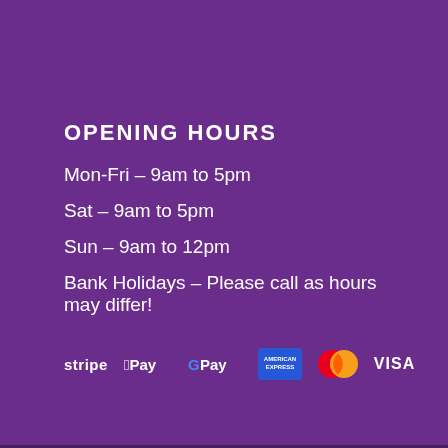OPENING HOURS
Mon-Fri – 9am to 5pm
Sat – 9am to 5pm
Sun – 9am to 12pm
Bank Holidays – Please call as hours may differ!
[Figure (logo): Payment method logos: Stripe, Apple Pay, Google Pay, American Express, Mastercard, Visa]